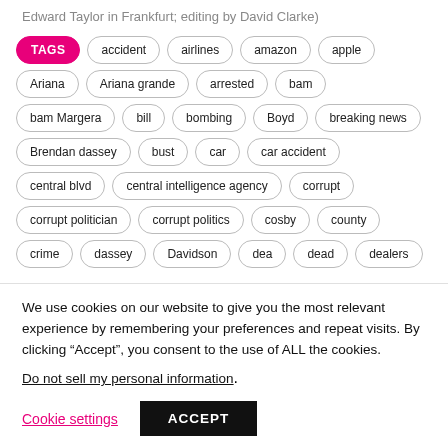Edward Taylor in Frankfurt; editing by David Clarke)
TAGS accident airlines amazon apple Ariana Ariana grande arrested bam bam Margera bill bombing Boyd breaking news Brendan dassey bust car car accident central blvd central intelligence agency corrupt corrupt politician corrupt politics cosby county crime dassey Davidson dea dead dealers
We use cookies on our website to give you the most relevant experience by remembering your preferences and repeat visits. By clicking “Accept”, you consent to the use of ALL the cookies.
Do not sell my personal information.
Cookie settings   ACCEPT